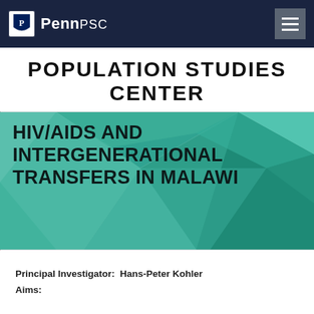PennPSC
POPULATION STUDIES CENTER
[Figure (illustration): Abstract geometric hexagonal background in teal/green tones with text overlay: HIV/AIDS AND INTERGENERATIONAL TRANSFERS IN MALAWI]
Principal Investigator: Hans-Peter Kohler
Aims: